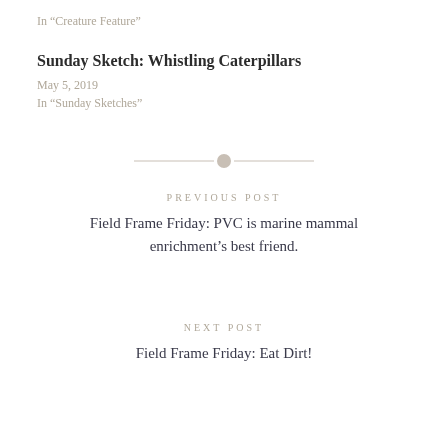In "Creature Feature"
Sunday Sketch: Whistling Caterpillars
May 5, 2019
In "Sunday Sketches"
[Figure (other): Decorative horizontal divider with a central dot and two lines extending left and right]
PREVIOUS POST
Field Frame Friday: PVC is marine mammal enrichment's best friend.
NEXT POST
Field Frame Friday: Eat Dirt!